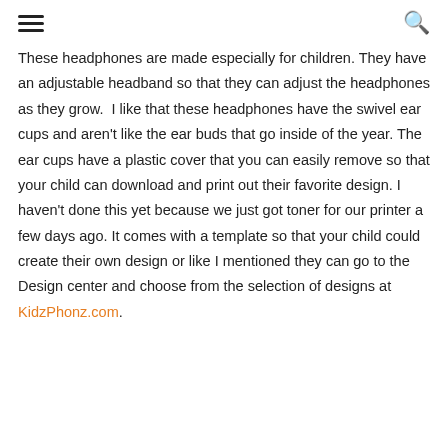[hamburger menu] [search icon]
These headphones are made especially for children. They have an adjustable headband so that they can adjust the headphones as they grow.  I like that these headphones have the swivel ear cups and aren't like the ear buds that go inside of the year. The ear cups have a plastic cover that you can easily remove so that your child can download and print out their favorite design. I haven't done this yet because we just got toner for our printer a few days ago. It comes with a template so that your child could create their own design or like I mentioned they can go to the Design center and choose from the selection of designs at KidzPhonz.com.